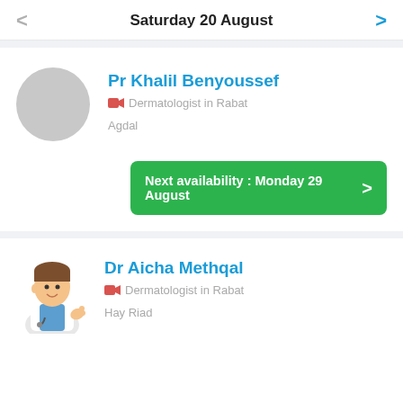Saturday 20 August
Pr Khalil Benyoussef
Dermatologist in Rabat
Agdal
Next availability : Monday 29 August
Dr Aicha Methqal
Dermatologist in Rabat
Hay Riad